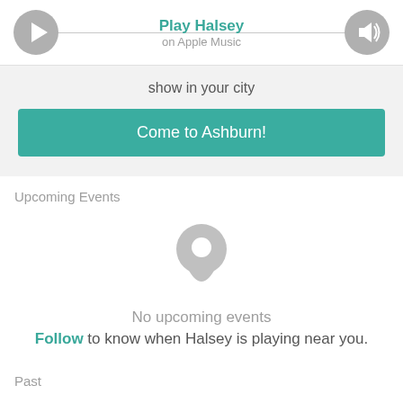[Figure (screenshot): Music player UI with play and sound icons, title 'Play Halsey' and subtitle 'on Apple Music', with a horizontal line connecting the two icons]
show in your city
Come to Ashburn!
Upcoming Events
[Figure (illustration): Gray map pin / location icon]
No upcoming events
Follow to know when Halsey is playing near you.
Past